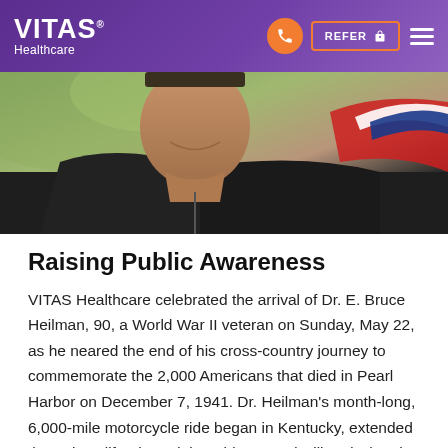VITAS Healthcare
[Figure (photo): Close-up photo of an elderly man smiling, wearing a leather jacket. He appears to be on a motorcycle ride and is wearing a patriotic bandana or scarf with red, white, and blue colors visible.]
Raising Public Awareness
VITAS Healthcare celebrated the arrival of Dr. E. Bruce Heilman, 90, a World War II veteran on Sunday, May 22, as he neared the end of his cross-country journey to commemorate the 2,000 Americans that died in Pearl Harbor on December 7, 1941. Dr. Heilman's month-long, 6,000-mile motorcycle ride began in Kentucky, extended through California and the Midwest and will end when he reaches Richmond, Virginia, in anticipation of Memorial Day.